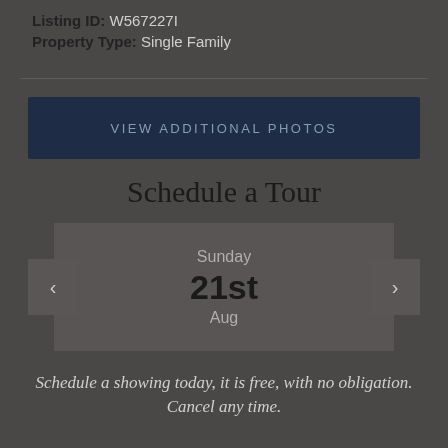Listing ID: W567227I
Property Type: Single Family
VIEW ADDITIONAL PHOTOS
Schedule a Tour
Sunday 21st Aug
Schedule a showing today, it is free, with no obligation. Cancel any time.